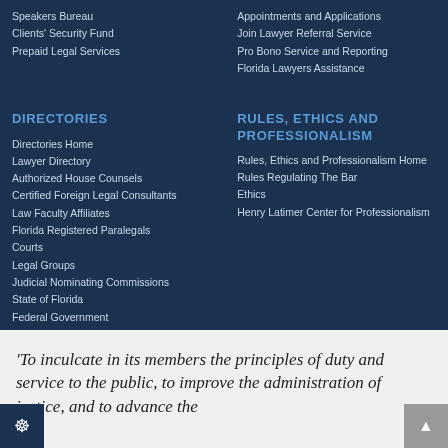Speakers Bureau
Clients' Security Fund
Prepaid Legal Services
Appointments and Applications
Join Lawyer Referral Service
Pro Bono Service and Reporting
Florida Lawyers Assistance
DIRECTORIES
Directories Home
Lawyer Directory
Authorized House Counsels
Certified Foreign Legal Consultants
Law Faculty Affiliates
Florida Registered Paralegals
Courts
Legal Groups
Judicial Nominating Commissions
State of Florida
Federal Government
RULES, ETHICS AND PROFESSIONALISM
Rules, Ethics and Professionalism Home
Rules Regulating The Bar
Ethics
Henry Latimer Center for Professionalism
'To inculcate in its members the principles of duty and service to the public, to improve the administration of justice, and to advance the